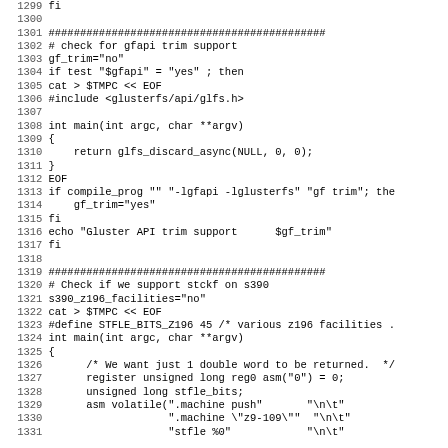Code listing lines 1299-1331, shell script and C code for gfapi trim support and s390 stckf support checks